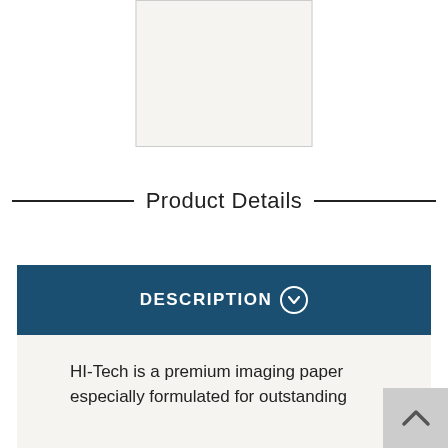[Figure (other): Product image placeholder — light beige/gray rectangle with border]
Product Details
DESCRIPTION
HI-Tech is a premium imaging paper especially formulated for outstanding